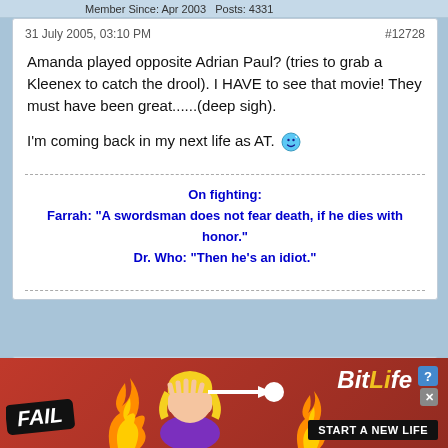Member Since: Apr 2003   Posts: 4331
31 July 2005, 03:10 PM
#12728
Amanda played opposite Adrian Paul? (tries to grab a Kleenex to catch the drool). I HAVE to see that movie! They must have been great......(deep sigh).

I'm coming back in my next life as AT. 😊
On fighting:
Farrah: "A swordsman does not fear death, if he dies with honor."
Dr. Who: "Then he's an idiot."
[Figure (screenshot): User avatar placeholder - grey silhouette of a person]
[Figure (screenshot): BitLife advertisement banner with FAIL text, blonde character, flames, and START A NEW LIFE text]